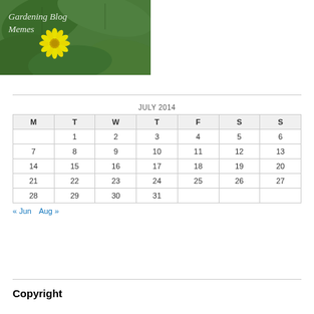[Figure (photo): Photo of a yellow flower with green leaves background, with italic white text overlay reading 'Gardening Blog Memes']
| M | T | W | T | F | S | S |
| --- | --- | --- | --- | --- | --- | --- |
|  | 1 | 2 | 3 | 4 | 5 | 6 |
| 7 | 8 | 9 | 10 | 11 | 12 | 13 |
| 14 | 15 | 16 | 17 | 18 | 19 | 20 |
| 21 | 22 | 23 | 24 | 25 | 26 | 27 |
| 28 | 29 | 30 | 31 |  |  |  |
« Jun  Aug »
Copyright